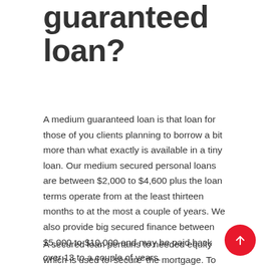guaranteed loan?
A medium guaranteed loan is that loan for those of you clients planning to borrow a bit more than what exactly is available in a tiny loan. Our medium secured personal loans are between $2,000 to $4,600 plus the loan terms operate from at the least thirteen months to at the most a couple of years. We also provide big secured finance between $5,000 to $10,000 and may be paid back over 13 to a couple of years.
A secured loan pertains to needed equity which is used to 'secure' the mortgage. To